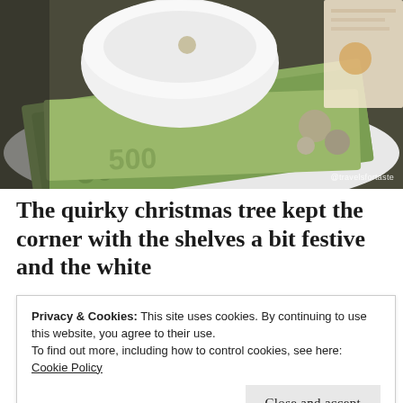[Figure (photo): Photo showing a white ceramic bowl/cup on a white plate with currency banknotes (greenish, denominations visible) and coins underneath, on a table. Watermark '@travelsfortaste' in white text at bottom right.]
The quirky christmas tree kept the corner with the shelves a bit festive and the white
Privacy & Cookies: This site uses cookies. By continuing to use this website, you agree to their use.
To find out more, including how to control cookies, see here:
Cookie Policy